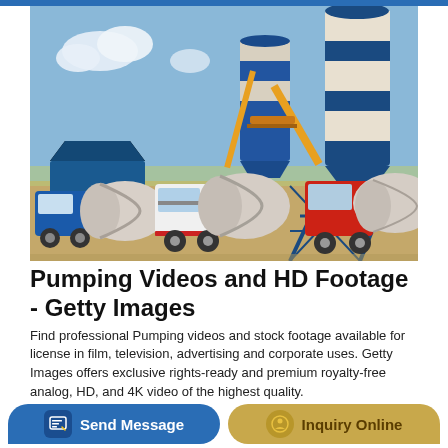[Figure (photo): Cement mixer trucks parked in front of a concrete batching plant with large blue silos and yellow crane structure under a blue sky.]
Pumping Videos and HD Footage - Getty Images
Find professional Pumping videos and stock footage available for license in film, television, advertising and corporate uses. Getty Images offers exclusive rights-ready and premium royalty-free analog, HD, and 4K video of the highest quality.